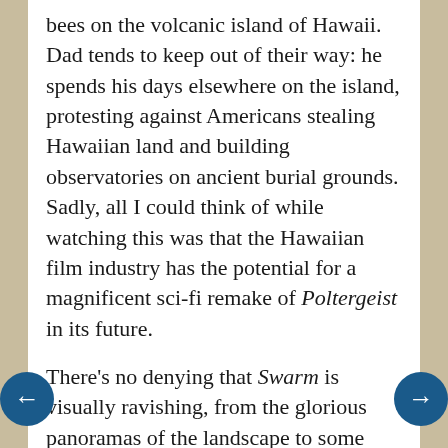bees on the volcanic island of Hawaii. Dad tends to keep out of their way: he spends his days elsewhere on the island, protesting against Americans stealing Hawaiian land and building observatories on ancient burial grounds. Sadly, all I could think of while watching this was that the Hawaiian film industry has the potential for a magnificent sci-fi remake of Poltergeist in its future.
There's no denying that Swarm is visually ravishing, from the glorious panoramas of the landscape to some astonishing macro closeups of bees dying. Narratively, however, it's a mess, touching on various ecological issues without ever really coming to any sort of point. The bees on the island seem to be going through the same traumas as our own